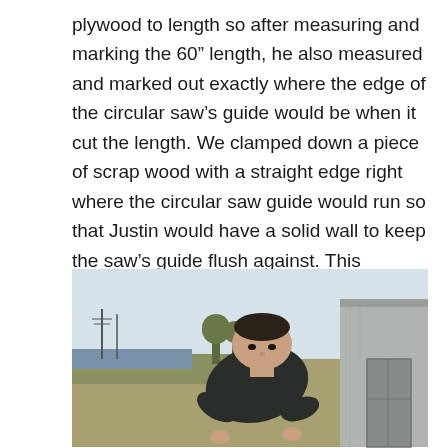plywood to length so after measuring and marking the 60″ length, he also measured and marked out exactly where the edge of the circular saw's guide would be when it cut the length. We clamped down a piece of scrap wood with a straight edge right where the circular saw guide would run so that Justin would have a solid wall to keep the saw's guide flush against. This ensured a super straight cut! He also tossed a couple of larger blocks of scrap wood on top to keep the guide wood firmly in place.
[Figure (photo): A man in a dark long-sleeve shirt leaning over, working outdoors near a shed. Trees and a body of water visible in the background.]